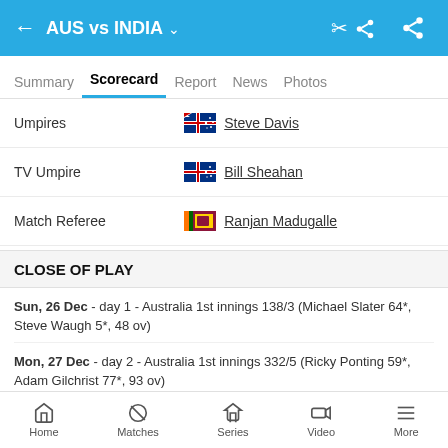AUS vs INDIA
Summary  Scorecard  Report  News  Photos
|  |  |
| --- | --- |
| Umpires | Steve Davis (AUS) |
| TV Umpire | Bill Sheahan (AUS) |
| Match Referee | Ranjan Madugalle (SRI) |
CLOSE OF PLAY
Sun, 26 Dec - day 1 - Australia 1st innings 138/3 (Michael Slater 64*, Steve Waugh 5*, 48 ov)
Mon, 27 Dec - day 2 - Australia 1st innings 332/5 (Ricky Ponting 59*, Adam Gilchrist 77*, 93 ov)
Tue, 28 Dec - day 3 - India 1st innings 235/9 (Anil Kumble 26*, Venkatesh
Home  Matches  Series  Video  More